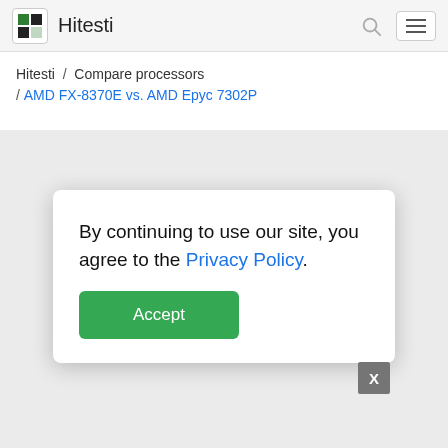Hitesti
Hitesti / Compare processors / AMD FX-8370E vs. AMD Epyc 7302P
By continuing to use our site, you agree to the Privacy Policy.
Accept